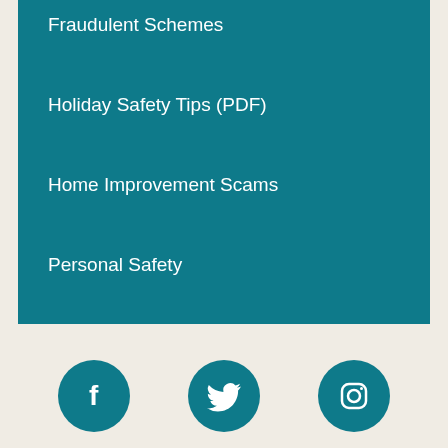Fraudulent Schemes
Holiday Safety Tips (PDF)
Home Improvement Scams
Personal Safety
[Figure (infographic): Six social media icon circles (Facebook, Twitter, Instagram, Pinterest, YouTube, Flickr) arranged in a 2x3 grid on a light beige background, all in teal color.]